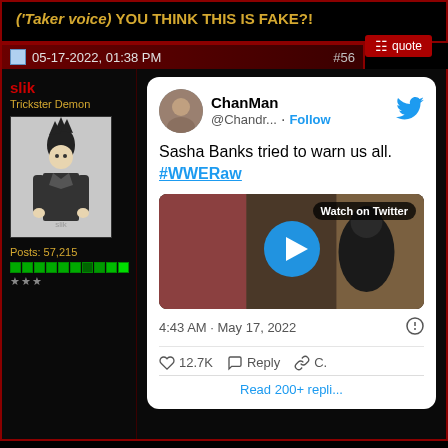('Taker voice) YOU THINK THIS IS FAKE?!
quote
05-17-2022, 01:38 PM  #56
slik
Trickster Demon
[Figure (photo): User avatar showing a stylized figure with mohawk hairstyle in a suit, black and white illustration]
Posts: 57,215
[Figure (infographic): Embedded tweet from @ChanMan (@Chandr...) with text 'Sasha Banks tried to warn us all. #WWERaw' and a video thumbnail showing Watch on Twitter with play button, timestamped 4:43 AM · May 17, 2022, with 12.7K likes, Reply, and share options]